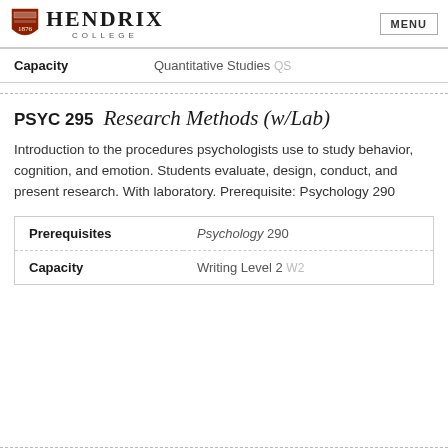HENDRIX COLLEGE | MENU
| Capacity |  |
| --- | --- |
| Capacity | Quantitative Studies QS |
PSYC 295  Research Methods (w/Lab)
Introduction to the procedures psychologists use to study behavior, cognition, and emotion. Students evaluate, design, conduct, and present research. With laboratory. Prerequisite: Psychology 290
|  |  |
| --- | --- |
| Prerequisites | Psychology 290 |
| Capacity | Writing Level 2 W2 |